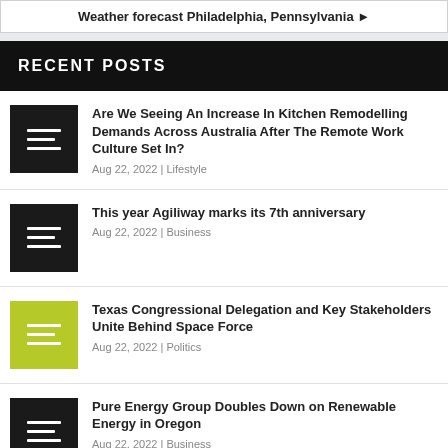Weather forecast Philadelphia, Pennsylvania ►
RECENT POSTS
Are We Seeing An Increase In Kitchen Remodelling Demands Across Australia After The Remote Work Culture Set In? Aug 22, 2022 | Lifestyle
This year Agiliway marks its 7th anniversary Aug 22, 2022 | Business
Texas Congressional Delegation and Key Stakeholders Unite Behind Space Force Aug 22, 2022 | Politics
Pure Energy Group Doubles Down on Renewable Energy in Oregon Aug 22, 2022 | Business